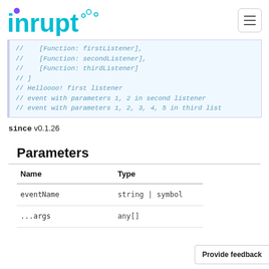inrupt logo and navigation
// [Function: firstListener],
// [Function: secondListener],
// [Function: thirdListener]
// ]
// Helloooo! first listener
// event with parameters 1, 2 in second listener
// event with parameters 1, 2, 3, 4, 5 in third list
since v0.1.26
Parameters
| Name | Type |
| --- | --- |
| eventName | string | symbol |
| ...args | any[] |